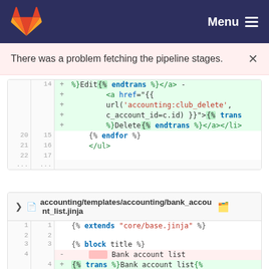Menu
There was a problem fetching the pipeline stages.
[Figure (screenshot): Code diff showing lines 14 of a Jinja template with added lines for a delete link using url('accounting:club_delete', c_account_id=c.id), trans/endtrans tags, and lines 20-22/15-17 showing endfor and /ul tags with ellipsis rows.]
accounting/templates/accounting/bank_account_list.jinja
[Figure (screenshot): Code diff for bank_account_list.jinja showing line 1: {% extends 'core/base.jinja' %}, line 2: blank, line 3: {% block title %}, line 4 deleted: Bank account list, line 4 added: {% trans %}Bank account list{%]